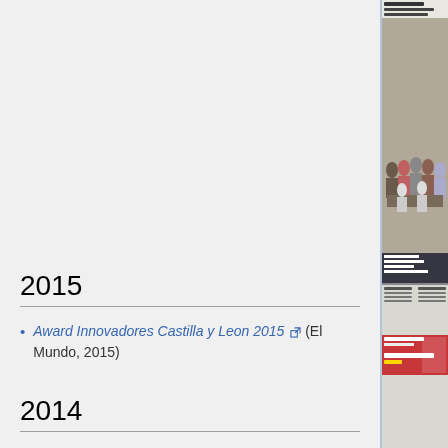[Figure (photo): Newspaper page showing a photo of a group of people with humanoid robots ('Baxter') around a table, with headline 'pacto contra las diputaciones' and subheading ''BAXTER', ROBOT Y AMIGO QUE AYUDA EN CASA'. The right side also shows partial columns and an advertisement for 'MARTILLO PERFORADOR'.]
2015
Award Innovadores Castilla y Leon 2015 (El Mundo, 2015)
2014